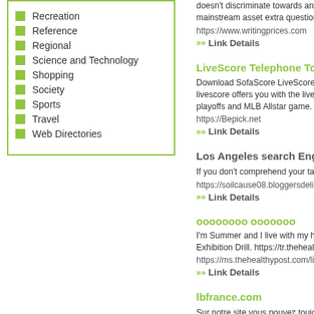Recreation
Reference
Regional
Science and Technology
Shopping
Society
Sports
Travel
Web Directories
doesn't discriminate towards anybody... mainstream asset extra questions have...
https://www.writingprices.com
»» Link Details
LiveScore Telephone Totally fr...
Download SofaScore LiveScore APK f... livescore offers you with the live score... playoffs and MLB Allstar game. LiveSco...
https://Bepick.net
»» Link Details
Los Angeles search Engine Ma...
If you don't comprehend your target au...
https://soilcause08.bloggersdelight.dk/...
»» Link Details
ооооооoo оооооoo
I'm Summer and I live with my husband... Exhibition Drill. https://tr.thehealthypost...
https://ms.thehealthypost.com/list-of-da...
»» Link Details
lbfrance.com
Sur notre site vous pouvez toujours tro... françaises Chaque jour, nous recueil... hôpitaux afin que vous puissiez trouver...
http://niort-naq.lbfrance.com/maaf-as...